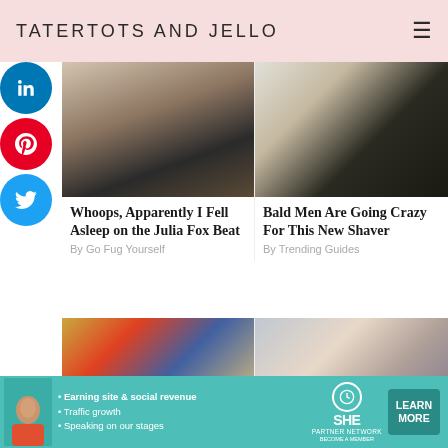TATERTOTS AND JELLO
[Figure (screenshot): Social media share buttons: LinkedIn (blue), Pinterest (red), Twitter (blue)]
[Figure (photo): Woman in fashion outfit standing outdoors - Julia Fox style]
Whoops, Apparently I Fell Asleep on the Julia Fox Beat
By Go Fug Yourself
[Figure (photo): Person using electric shaver/clipper on head]
Bald Men Are Going Crazy For This New Shaver
By Trending Guides
[Figure (photo): Woman smiling in a colorful city street]
[Figure (photo): Older woman with light hair looking at camera]
[Figure (infographic): SHE Partner Network advertisement - teal background with bullet points: Earning site & social revenue, Traffic growth, Speaking on our stages. LEARN MORE button.]